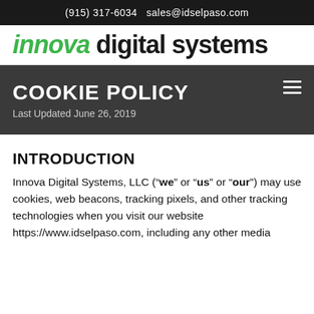(915) 317-6034   sales@idselpaso.com
[Figure (logo): Innova Digital Systems logo with 'innova' in green italic and 'digital systems' in black bold]
COOKIE POLICY
Last Updated June 26, 2019
INTRODUCTION
Innova Digital Systems, LLC (“we” or “us” or “our”) may use cookies, web beacons, tracking pixels, and other tracking technologies when you visit our website https://www.idselpaso.com, including any other media